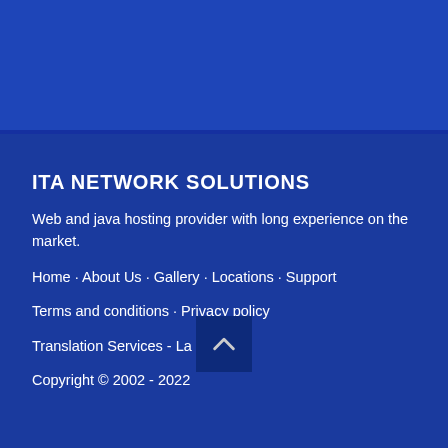ITA NETWORK SOLUTIONS
Web and java hosting provider with long experience on the market.
Home · About Us · Gallery · Locations · Support
Terms and conditions · Privacy policy
Translation Services - La Fit Trans
Copyright © 2002 - 2022